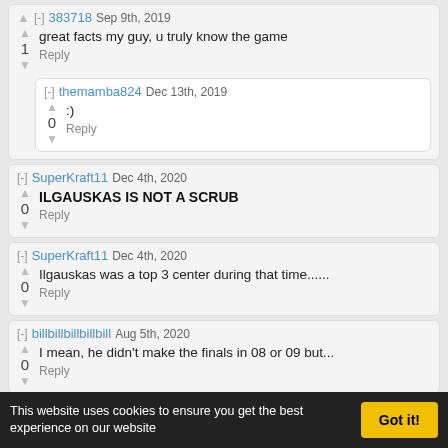383718 Sep 9th, 2019 — great facts my guy, u truly know the game — Reply
themamba824 Dec 13th, 2019 — :) — Reply
SuperKraft11 Dec 4th, 2020 — ILGAUSKAS IS NOT A SCRUB — Reply
SuperKraft11 Dec 4th, 2020 — Ilgauskas was a top 3 center during that time...... — Reply
billbillbillbillbill Aug 5th, 2020 — I mean, he didn't make the finals in 08 or 09 but... — Reply
AtomicJaguarBeast Aug 1st, 2019 — I know Drew Gooden
This website uses cookies to ensure you get the best experience on our website